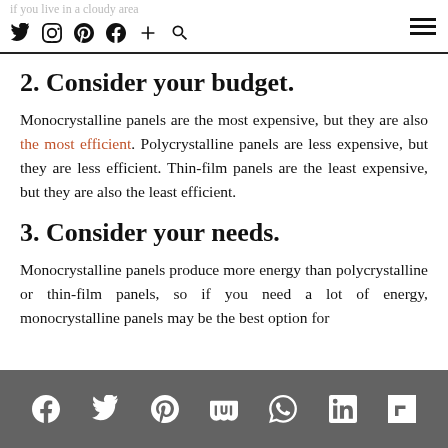if you live in a cloudy area [ghost text] | social icons: Twitter, Instagram, Pinterest, Facebook, Plus, Search | hamburger menu
2. Consider your budget.
Monocrystalline panels are the most expensive, but they are also the most efficient. Polycrystalline panels are less expensive, but they are less efficient. Thin-film panels are the least expensive, but they are also the least efficient.
3. Consider your needs.
Monocrystalline panels produce more energy than polycrystalline or thin-film panels, so if you need a lot of energy, monocrystalline panels may be the best option for
Social share icons: Facebook, Twitter, Pinterest, Mix, WhatsApp, LinkedIn, Flipboard